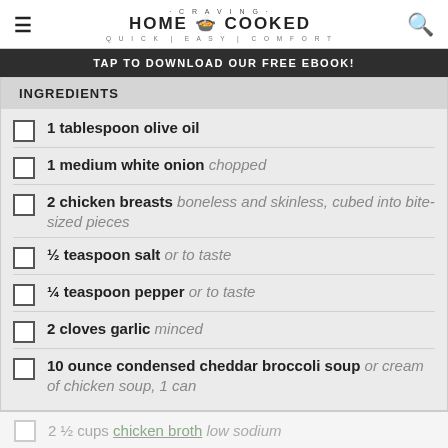CRAVING HOME COOKED — QUICK | EASY | COMFORT
TAP TO DOWNLOAD OUR FREE EBOOK!
INGREDIENTS
1 tablespoon olive oil
1 medium white onion chopped
2 chicken breasts boneless and skinless, cubed into bite-sized pieces
½ teaspoon salt or to taste
¼ teaspoon pepper or to taste
2 cloves garlic minced
10 ounce condensed cheddar broccoli soup or cream of chicken soup, 1 can
2 ½ cups chicken broth low sodium